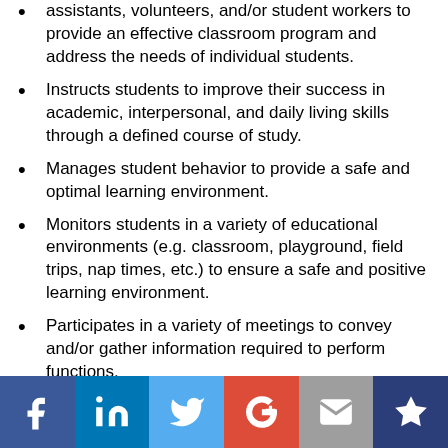assistants, volunteers, and/or student workers to provide an effective classroom program and address the needs of individual students.
Instructs students to improve their success in academic, interpersonal, and daily living skills through a defined course of study.
Manages student behavior to provide a safe and optimal learning environment.
Monitors students in a variety of educational environments (e.g. classroom, playground, field trips, nap times, etc.) to ensure a safe and positive learning environment.
Participates in a variety of meetings to convey and/or gather information required to perform functions.
Prepares a variety of written materials (e.g. grades, attendance, anecdotal records, etc.) to document student progress and meet mandated requirements.
Reports incidents (e.g. fights, suspected child abuse, suspected substance abuse, etc.) to maintain the
[Figure (infographic): Social media sharing bar with icons for Facebook, LinkedIn, Twitter, Google+, Email, and a crown/bookmark icon]